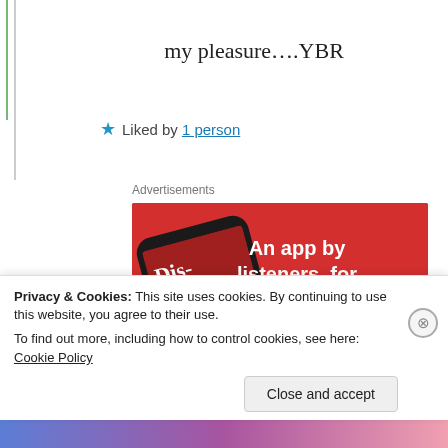my pleasure….YBR
★ Liked by 1 person
Advertisements
[Figure (screenshot): Advertisement banner with red background showing a smartphone with a podcast app (Dis-tribu-ted) and text: 'An app by listeners, for listeners.' with a 'Download now' button.]
Privacy & Cookies: This site uses cookies. By continuing to use this website, you agree to their use.
To find out more, including how to control cookies, see here: Cookie Policy
Close and accept